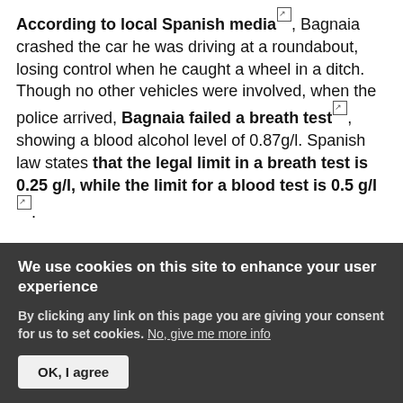According to local Spanish media, Bagnaia crashed the car he was driving at a roundabout, losing control when he caught a wheel in a ditch. Though no other vehicles were involved, when the police arrived, Bagnaia failed a breath test, showing a blood alcohol level of 0.87g/l. Spanish law states that the legal limit in a breath test is 0.25 g/l, while the limit for a blood test is 0.5 g/l.
(It should be noted that blood alcohol content is measured differently in Europe and in Australia and in the US. In the EU, the units used are grams of alcohol per liter of blood, while in the UK, Australia, and the US, percentage is used, which is grams per 100ml. A blood...
We use cookies on this site to enhance your user experience
By clicking any link on this page you are giving your consent for us to set cookies. No, give me more info
OK, I agree